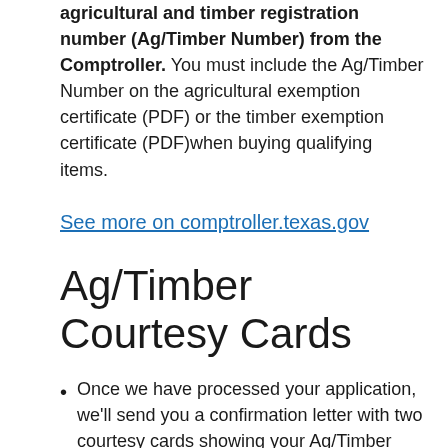agricultural and timber registration number (Ag/Timber Number) from the Comptroller. You must include the Ag/Timber Number on the agricultural exemption certificate (PDF) or the timber exemption certificate (PDF)when buying qualifying items.
See more on comptroller.texas.gov
Ag/Timber Courtesy Cards
Once we have processed your application, we'll send you a confirmation letter with two courtesy cards showing your Ag/Timber Number